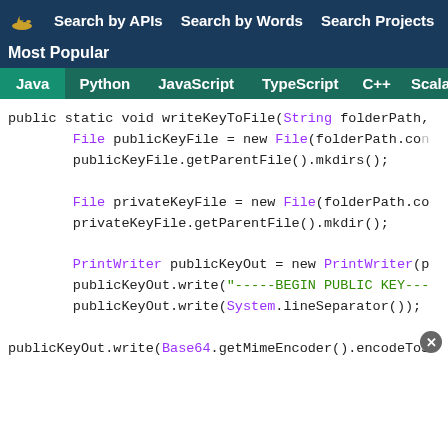Search by APIs  Search by Words  Search Projects
Most Popular
Java  Python  JavaScript  TypeScript  C++  Scala
[Figure (screenshot): Java code snippet showing writeKeyToFile method with File and PrintWriter operations, syntax highlighted in monospace font on white background.]